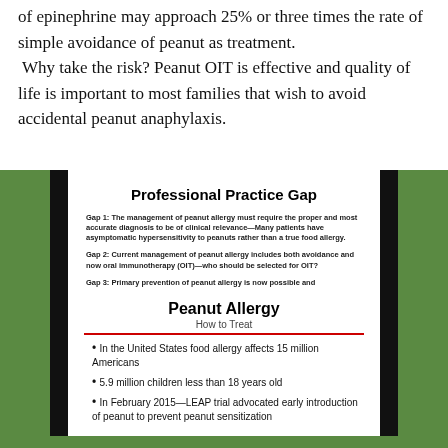of epinephrine may approach 25% or three times the rate of simple avoidance of peanut as treatment. Why take the risk? Peanut OIT is effective and quality of life is important to most families that wish to avoid accidental peanut anaphylaxis.
[Figure (screenshot): Slide titled 'Professional Practice Gap' listing three gaps: Gap 1 about proper diagnosis, Gap 2 about current management including OIT, Gap 3 about primary prevention. University of Oklahoma Medicine logos at bottom.]
[Figure (screenshot): Slide titled 'Peanut Allergy - How to Treat' with bullet points about food allergy statistics in the US and LEAP trial advocacy for early peanut introduction.]